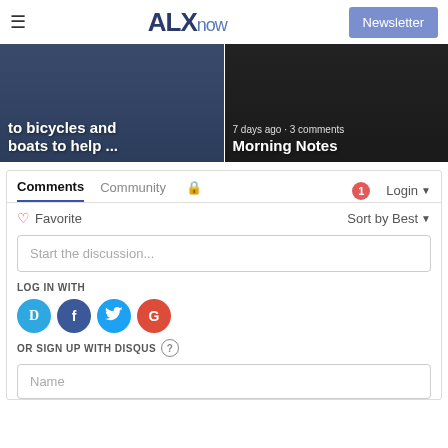ALXnow | Newsletter
[Figure (screenshot): News card left: partial headline 'to bicycles and boats to help ...' on dark blue background]
[Figure (screenshot): News card right: '7 days ago · 3 comments' meta and 'Morning Notes' headline on dark background]
Comments | Community | Login
Favorite | Sort by Best
Start the discussion...
LOG IN WITH
[Figure (logo): Social login icons: Disqus (D), Facebook (f), Twitter bird, Google (G)]
OR SIGN UP WITH DISQUS ?
Name